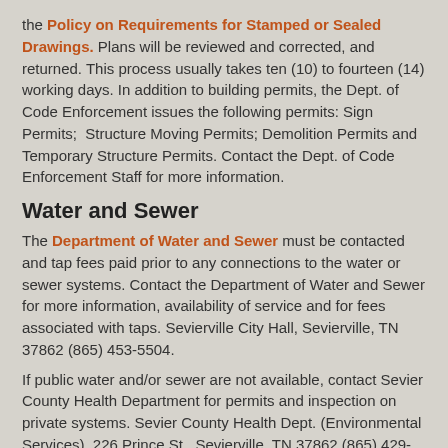the Policy on Requirements for Stamped or Sealed Drawings. Plans will be reviewed and corrected, and returned. This process usually takes ten (10) to fourteen (14) working days. In addition to building permits, the Dept. of Code Enforcement issues the following permits: Sign Permits;  Structure Moving Permits; Demolition Permits and Temporary Structure Permits. Contact the Dept. of Code Enforcement Staff for more information.
Water and Sewer
The Department of Water and Sewer must be contacted and tap fees paid prior to any connections to the water or sewer systems. Contact the Department of Water and Sewer for more information, availability of service and for fees associated with taps. Sevierville City Hall, Sevierville, TN 37862 (865) 453-5504.
If public water and/or sewer are not available, contact Sevier County Health Department for permits and inspection on private systems. Sevier County Health Dept. (Environmental Services), 226 Prince St., Sevierville, TN 37862 (865) 429-1766